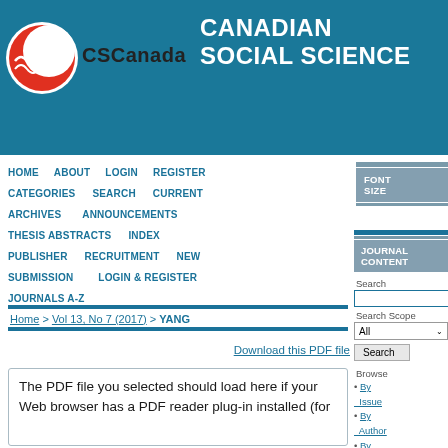[Figure (logo): CSCanada logo with red/orange crescent moon and maple leaf, beside bold black CSCanada text, on teal/blue banner with CANADIAN SOCIAL SCIENCE title in white]
CANADIAN SOCIAL SCIENCE
HOME   ABOUT   LOGIN   REGISTER
CATEGORIES   SEARCH   CURRENT
ARCHIVES   ANNOUNCEMENTS
THESIS ABSTRACTS   INDEX
PUBLISHER   RECRUITMENT   NEW SUBMISSION   LOGIN & REGISTER
JOURNALS A-Z
Home > Vol 13, No 7 (2017) > YANG
Download this PDF file
The PDF file you selected should load here if your Web browser has a PDF reader plug-in installed (for
FONT SIZE
JOURNAL CONTENT
Search
Search Scope
All
Search
Browse
By Issue
By Author
By Title
By